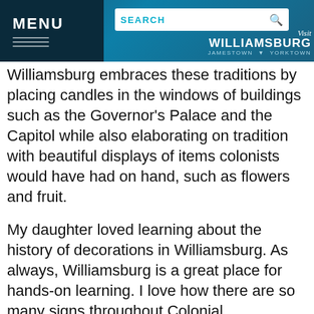MENU | SEARCH | Visit Williamsburg Jamestown Yorktown
Williamsburg embraces these traditions by placing candles in the windows of buildings such as the Governor’s Palace and the Capitol while also elaborating on tradition with beautiful displays of items colonists would have had on hand, such as flowers and fruit.
My daughter loved learning about the history of decorations in Williamsburg. As always, Williamsburg is a great place for hands-on learning. I love how there are so many signs throughout Colonial Williamsburg and Merchants Square that I can easily read as I’m